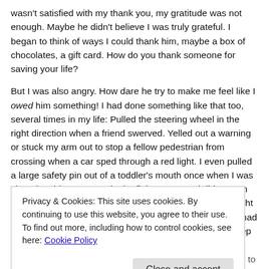wasn't satisfied with my thank you, my gratitude was not enough. Maybe he didn't believe I was truly grateful. I began to think of ways I could thank him, maybe a box of chocolates, a gift card. How do you thank someone for saving your life?
But I was also angry. How dare he try to make me feel like I owed him something! I had done something like that too, several times in my life: Pulled the steering wheel in the right direction when a friend swerved. Yelled out a warning or stuck my arm out to stop a fellow pedestrian from crossing when a car sped through a red light. I even pulled a large safety pin out of a toddler's mouth once when I was shopping, his mom was in the fitting room and didn't even notice, let alone thank me. I did it without a second thought and I would do it again, had I known the person or not—had I received a thank you or not. And I certainly wouldn't keep
Privacy & Cookies: This site uses cookies. By continuing to use this website, you agree to their use.
To find out more, including how to control cookies, see here: Cookie Policy
or a little of both. As time passed, his rough edges began to